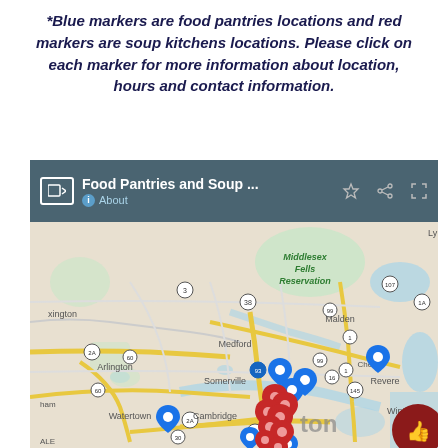*Blue markers are food pantries locations and red markers are soup kitchens locations. Please click on each marker for more information about location, hours and contact information.
[Figure (map): Google Maps screenshot titled 'Food Pantries and Soup ...' showing the greater Boston area including Arlington, Medford, Somerville, Cambridge, Malden, Revere, Chelsea, Winthrop, and Watertown. Blue markers indicate food pantry locations and red markers indicate soup kitchen locations, clustered around Boston/Cambridge area.]